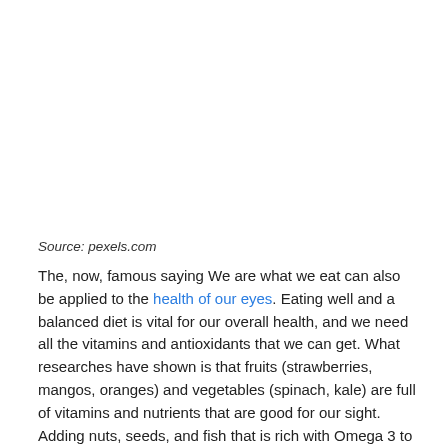Source: pexels.com
The, now, famous saying We are what we eat can also be applied to the health of our eyes. Eating well and a balanced diet is vital for our overall health, and we need all the vitamins and antioxidants that we can get. What researches have shown is that fruits (strawberries, mangos, oranges) and vegetables (spinach, kale) are full of vitamins and nutrients that are good for our sight. Adding nuts, seeds, and fish that is rich with Omega 3 to our diet is also great for the eyes. All this mentioned is great not only because we provide our body with all the nutrients it needs, but also to prevent any possible diseases. The most